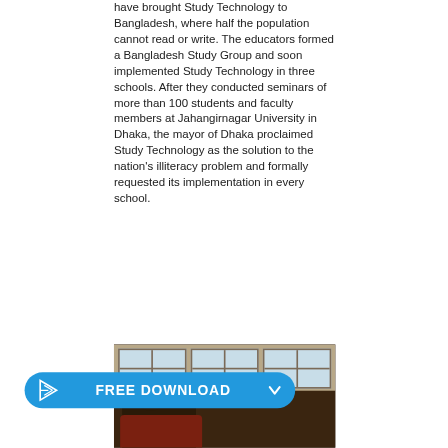have brought Study Technology to Bangladesh, where half the population cannot read or write. The educators formed a Bangladesh Study Group and soon implemented Study Technology in three schools. After they conducted seminars of more than 100 students and faculty members at Jahangirnagar University in Dhaka, the mayor of Dhaka proclaimed Study Technology as the solution to the nation's illiteracy problem and formally requested its implementation in every school.
[Figure (photo): A photo of students studying in a classroom, with windows visible in the background letting in light. A student is seen from behind working at a desk.]
[Figure (infographic): A blue rounded button/banner with a cursor/arrow icon on the left and the text FREE DOWNLOAD with a caret/chevron on the right.]